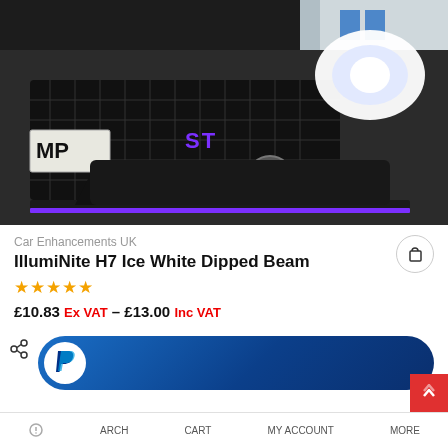[Figure (photo): Close-up front view of a dark grey Ford Fiesta ST with purple accents on the front splitter and ST badge, showing the hexagonal grille, fog light, and headlight. License plate partially visible showing 'MP'.]
Car Enhancements UK
IllumiNite H7 Ice White Dipped Beam
★★★★★
£10.83 Ex VAT – £13.00 Inc VAT
[Figure (logo): PayPal payment button — blue rounded rectangle with white PayPal 'P' logo circle on the left]
ARCH   CART   MY ACCOUNT   MORE